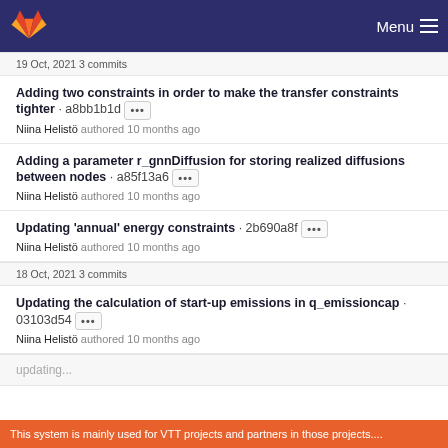Menu
19 Oct, 2021 3 commits
Adding two constraints in order to make the transfer constraints tighter · a8bb1b1d •••
Niina Helistö authored 10 months ago
Adding a parameter r_gnnDiffusion for storing realized diffusions between nodes · a85f13a6 •••
Niina Helistö authored 10 months ago
Updating 'annual' energy constraints · 2b690a8f •••
Niina Helistö authored 10 months ago
18 Oct, 2021 3 commits
Updating the calculation of start-up emissions in q_emissioncap · 03103d54 •••
Niina Helistö authored 10 months ago
This system is mainly used for VTT projects and partners in those projects....